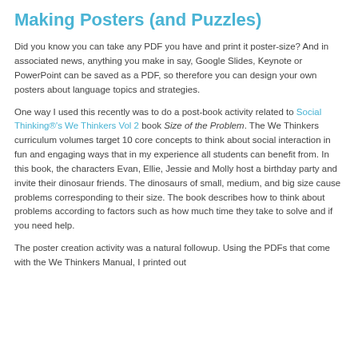Making Posters (and Puzzles)
Did you know you can take any PDF you have and print it poster-size? And in associated news, anything you make in say, Google Slides, Keynote or PowerPoint can be saved as a PDF, so therefore you can design your own posters about language topics and strategies.
One way I used this recently was to do a post-book activity related to Social Thinking®'s We Thinkers Vol 2 book Size of the Problem. The We Thinkers curriculum volumes target 10 core concepts to think about social interaction in fun and engaging ways that in my experience all students can benefit from. In this book, the characters Evan, Ellie, Jessie and Molly host a birthday party and invite their dinosaur friends. The dinosaurs of small, medium, and big size cause problems corresponding to their size. The book describes how to think about problems according to factors such as how much time they take to solve and if you need help.
The poster creation activity was a natural followup. Using the PDFs that come with the We Thinkers Manual, I printed out